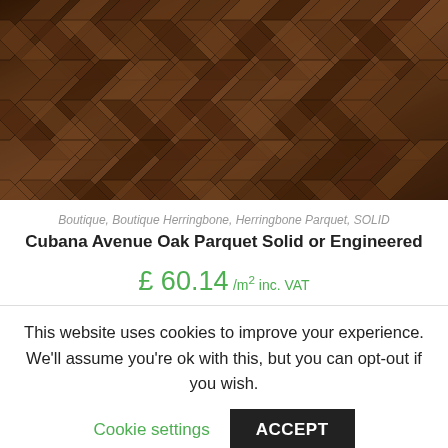[Figure (photo): Close-up photograph of dark walnut herringbone/parquet wood flooring pattern with diagonal arrangement of planks in various shades of brown]
Boutique, Boutique Herringbone, Herringbone Parquet, SOLID
Cubana Avenue Oak Parquet Solid or Engineered
£ 60.14 /m² inc. VAT
This website uses cookies to improve your experience. We'll assume you're ok with this, but you can opt-out if you wish.
Cookie settings   ACCEPT